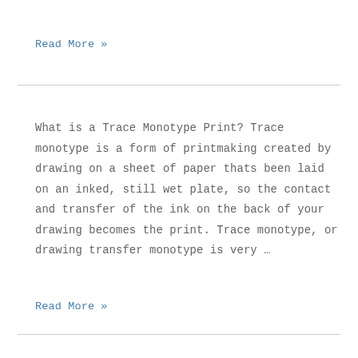Read More »
What is a Trace Monotype Print? Trace monotype is a form of printmaking created by drawing on a sheet of paper thats been laid on an inked, still wet plate, so the contact and transfer of the ink on the back of your drawing becomes the print. Trace monotype, or drawing transfer monotype is very …
Read More »